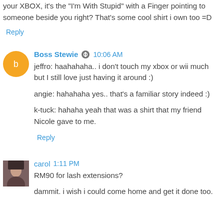your XBOX, it's the "I'm With Stupid" with a Finger pointing to someone beside you right? That's some cool shirt i own too =D
Reply
Boss Stewie  10:06 AM
jeffro: haahahaha.. i don't touch my xbox or wii much but I still love just having it around :)
angie: hahahaha yes.. that's a familiar story indeed :)
k-tuck: hahaha yeah that was a shirt that my friend Nicole gave to me.
Reply
carol  1:11 PM
RM90 for lash extensions?
dammit. i wish i could come home and get it done too.